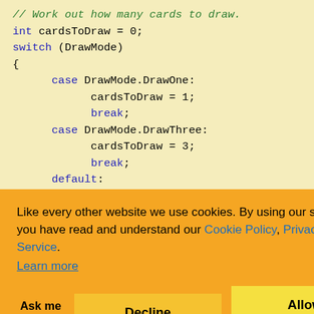[Figure (screenshot): Code snippet showing a switch statement in C# with a cookie consent banner overlay. The code has a beige background with blue keywords, green comment, and black code text. The cookie banner is orange with text and two buttons (Decline, Allow cookies).]